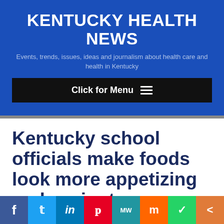KENTUCKY HEALTH NEWS
Events, trends, issues, ideas and journalism about health care and health in Kentucky
[Figure (screenshot): Black navigation bar with 'Click for Menu' text and hamburger icon]
Kentucky school officials make foods look more appetizing and easier to
[Figure (infographic): Social media sharing bar with Facebook, Twitter, LinkedIn, Pinterest, MW, Mix, WhatsApp, and share buttons]